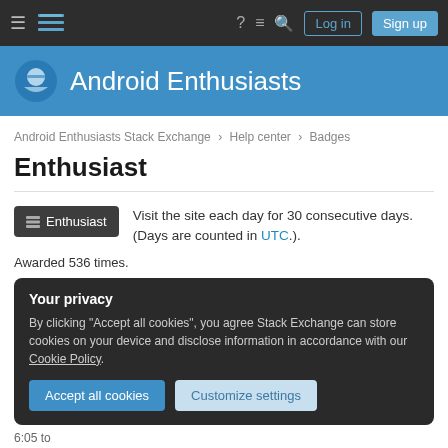Android Enthusiasts Stack Exchange | Help center | Badges
Android Enthusiasts
Android Enthusiasts Stack Exchange › Help center › Badges
Enthusiast
Visit the site each day for 30 consecutive days. (Days are counted in UTC.).
Awarded 536 times.
Your privacy
By clicking "Accept all cookies", you agree Stack Exchange can store cookies on your device and disclose information in accordance with our Cookie Policy.
6:05 to